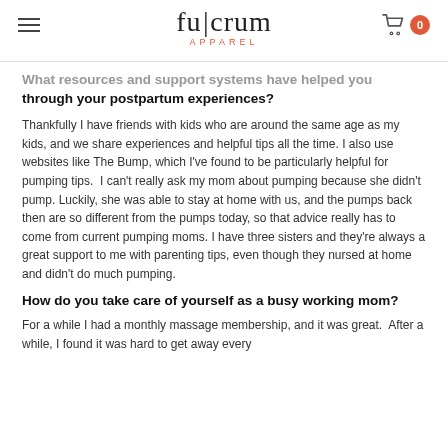fulcrum APPAREL
What resources and support systems have helped you through your postpartum experiences?
Thankfully I have friends with kids who are around the same age as my kids, and we share experiences and helpful tips all the time. I also use websites like The Bump, which I've found to be particularly helpful for pumping tips.  I can't really ask my mom about pumping because she didn't pump. Luckily, she was able to stay at home with us, and the pumps back then are so different from the pumps today, so that advice really has to come from current pumping moms. I have three sisters and they're always a great support to me with parenting tips, even though they nursed at home and didn't do much pumping.
How do you take care of yourself as a busy working mom?
For a while I had a monthly massage membership, and it was great.  After a while, I found it was hard to get away every